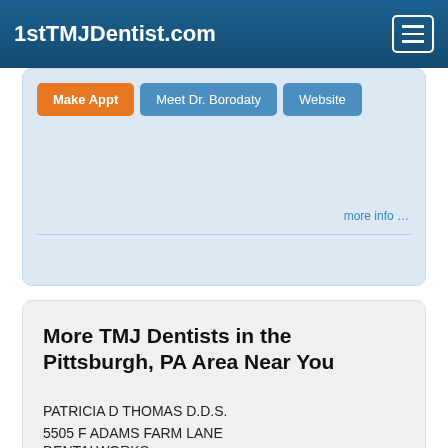1stTMJDentist.com
Make Appt   Meet Dr. Borodaty   Website
more info …
More TMJ Dentists in the Pittsburgh, PA Area Near You
PATRICIA D THOMAS D.D.S.
5505 F ADAMS FARM LANE
GREENSBORO, NC, 27407
(336) 297-9777
DENTALWORKS
3600 N DUKE ST STE 28
DURHAM, NC, 27704
(919) 471-3315
Doctor - Activate Your Free 1stTMJDentist Pl…